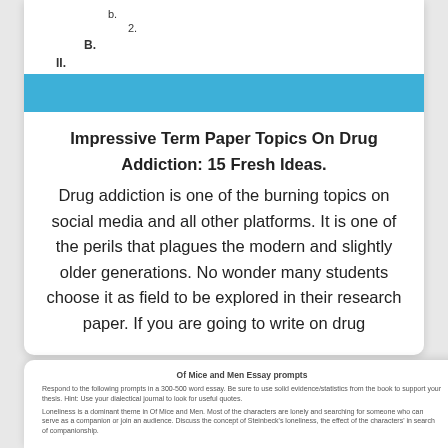b.
2.
B.
II.
Impressive Term Paper Topics On Drug Addiction: 15 Fresh Ideas.
Drug addiction is one of the burning topics on social media and all other platforms. It is one of the perils that plagues the modern and slightly older generations. No wonder many students choose it as field to be explored in their research paper. If you are going to write on drug
Of Mice and Men Essay prompts
Respond to the following prompts in a 300-500 word essay. Be sure to use solid evidence/statistics from the book to support your thesis. Hint: Use your dialectical journal to look for useful quotes.
Loneliness is a dominant theme in Of Mice and Men. Most of the characters are lonely and searching for someone who can serve as a companion or join an audience. Discuss the concept of Steinbeck's loneliness, the effect of the characters' in search of companionship.